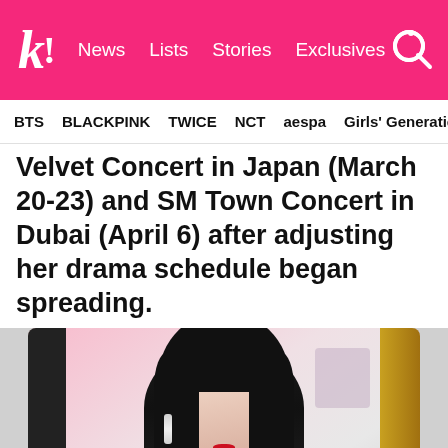k! News Lists Stories Exclusives
BTS BLACKPINK TWICE NCT aespa Girls' Generation
Velvet Concert in Japan (March 20-23) and SM Town Concert in Dubai (April 6) after adjusting her drama schedule began spreading.
[Figure (photo): Portrait photo of a young woman with long dark hair, wearing a black outfit with elegant crystal drop earrings. She has a fair complexion with red lipstick. The background shows a colorful event backdrop with pink, white, and gold/black geometric panels.]